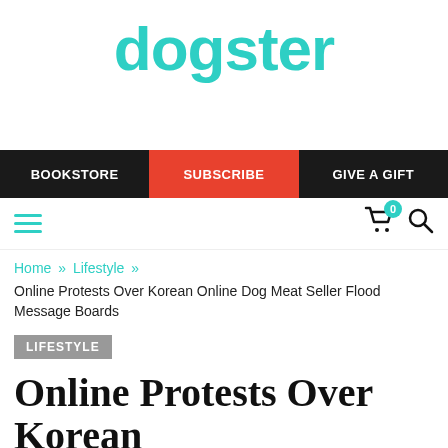dogster
BOOKSTORE   SUBSCRIBE   GIVE A GIFT
Home » Lifestyle »
Online Protests Over Korean Online Dog Meat Seller Flood Message Boards
LIFESTYLE
Online Protests Over Korean